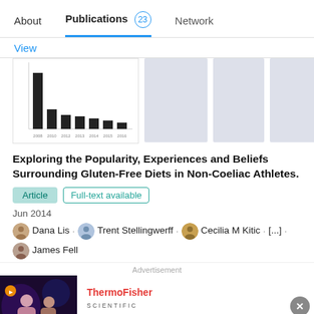About   Publications 23   Network
View
[Figure (bar-chart): Small bar chart showing publication counts declining over time]
Exploring the Popularity, Experiences and Beliefs Surrounding Gluten-Free Diets in Non-Coeliac Athletes.
Article   Full-text available
Jun 2014
Dana Lis · Trent Stellingwerff · Cecilia M Kitic · [...] · James Fell
Advertisement
ThermoFisher SCIENTIFIC
Gene Synthesis Handbook